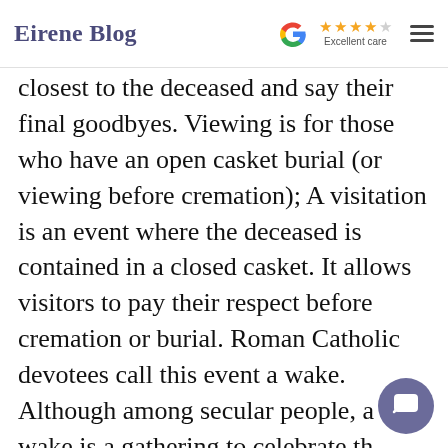Eirene Blog — Google Excellent care (4 stars)
closest to the deceased and say their final goodbyes. Viewing is for those who have an open casket burial (or viewing before cremation); A visitation is an event where the deceased is contained in a closed casket. It allows visitors to pay their respect before cremation or burial. Roman Catholic devotees call this event a wake. Although among secular people, a wake is a gathering to celebrate the deceased, These services are not exclusive to particular cultures or